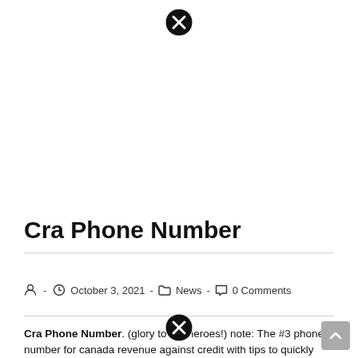[Figure (other): Close/dismiss icon (circle with X) at top center of page]
Cra Phone Number
October 3, 2021 · News · 0 Comments
Cra Phone Number. (glory to the heroes!) note: The #3 phone number for canada revenue against credit with tips to quickly